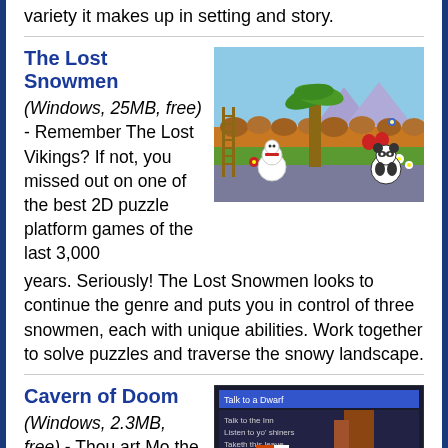variety it makes up in setting and story.
The Lost Snowmen
(Windows, 25MB, free) - Remember The Lost Vikings? If not, you missed out on one of the best 2D puzzle platform games of the last 3,000 years. Seriously! The Lost Snowmen looks to continue the genre and puts you in control of three snowmen, each with unique abilities. Work together to solve puzzles and traverse the snowy landscape.
[Figure (screenshot): Screenshot of The Lost Snowmen game showing a 2D platformer scene with a snowman character, a panda, a palm tree, rocks, flowers, and tropical vegetation on a colorful level.]
Cavern of Doom
(Windows, 2.3MB, free) - Thou art Mo the Great! Hero of many a heroic
[Figure (screenshot): Screenshot of Cavern of Doom game showing a pixel-art RPG style interface with dialogue options and blocky character sprites in brown, red, white and yellow colors.]